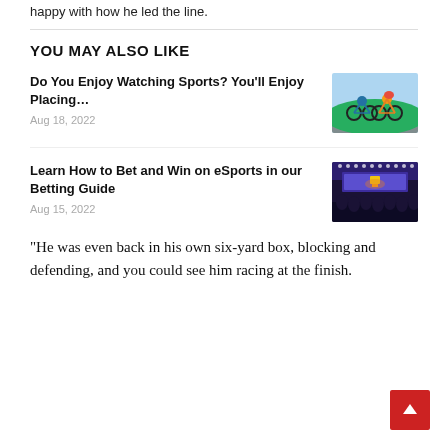happy with how he led the line.
YOU MAY ALSO LIKE
Do You Enjoy Watching Sports? You'll Enjoy Placing…
Aug 18, 2022
[Figure (photo): Two cyclists racing on road bikes, one in blue and one in yellow jersey with red helmet]
Learn How to Bet and Win on eSports in our Betting Guide
Aug 15, 2022
[Figure (photo): eSports arena stage with colorful lighting and crowd silhouettes]
"He was even back in his own six-yard box, blocking and defending, and you could see him racing at the finish.